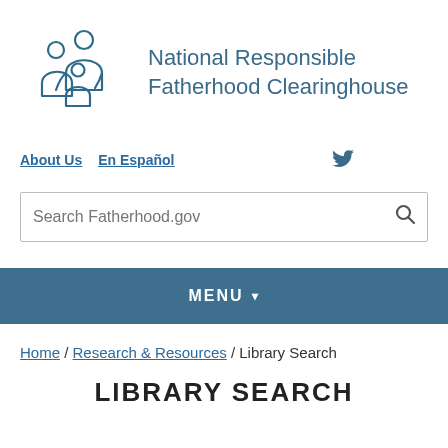[Figure (logo): National Responsible Fatherhood Clearinghouse logo showing outline illustration of family (adult male, adult female, child) next to the organization name]
National Responsible Fatherhood Clearinghouse
About Us   En Español
Search Fatherhood.gov
MENU
Home / Research & Resources / Library Search
LIBRARY SEARCH